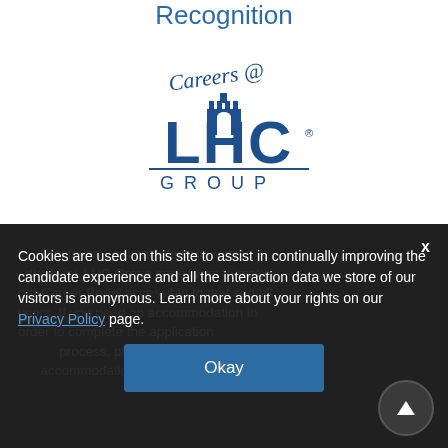Recognition
[Figure (logo): Careers @ LHC Group logo — stylized script 'Careers @' above bold 'LHC' letters with castle/cross icon, and 'GROUP' below, all in dark blue]
Employer – minority, female, vets, disability. LHC Group endeavors to make our Career Portal accessible to any and all users. If you need an accommodation in order to complete the application process, please contact accommodation.request@lhcgroup.com
Cookies are used on this site to assist in continually improving the candidate experience and all the interaction data we store of our visitors is anonymous. Learn more about your rights on our Privacy Policy page.
Okay